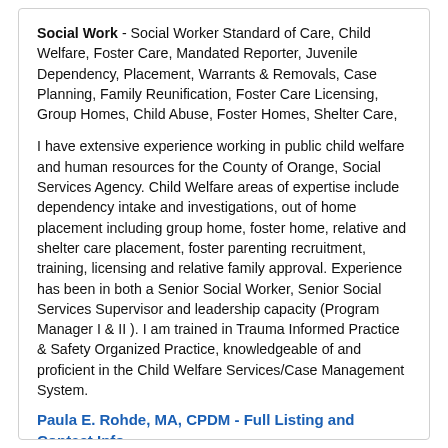Social Work - Social Worker Standard of Care, Child Welfare, Foster Care, Mandated Reporter, Juvenile Dependency, Placement, Warrants & Removals, Case Planning, Family Reunification, Foster Care Licensing, Group Homes, Child Abuse, Foster Homes, Shelter Care,
I have extensive experience working in public child welfare and human resources for the County of Orange, Social Services Agency. Child Welfare areas of expertise include dependency intake and investigations, out of home placement including group home, foster home, relative and shelter care placement, foster parenting recruitment, training, licensing and relative family approval. Experience has been in both a Senior Social Worker, Senior Social Services Supervisor and leadership capacity (Program Manager I & II ). I am trained in Trauma Informed Practice & Safety Organized Practice, knowledgeable of and proficient in the Child Welfare Services/Case Management System.
Paula E. Rohde, MA, CPDM - Full Listing and Contact Info